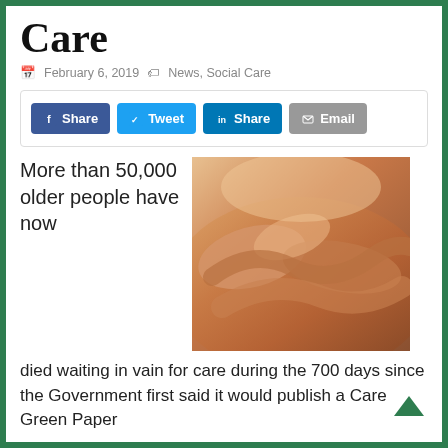Care
February 6, 2019  News, Social Care
[Figure (other): Social media share buttons: Facebook Share, Tweet, LinkedIn Share, Email]
[Figure (photo): Hands of a younger person holding and comforting the hands of an older person, care image]
More than 50,000 older people have now died waiting in vain for care during the 700 days since the Government first said it would publish a Care Green Paper
Age UK says this demonstrates why the Government must come forward with proposals to reform and